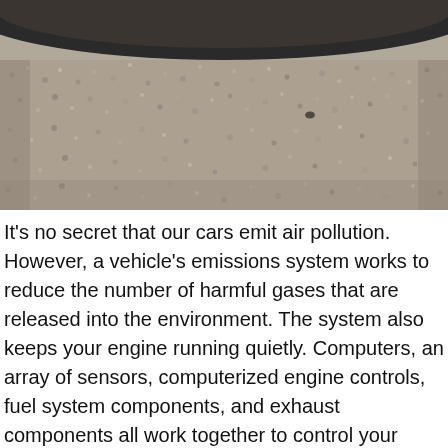[Figure (photo): Close-up photograph of a catalytic converter or exhaust component surface showing a rough, granular grey/beige textured material, with a dark curved edge visible at the top. A thin blue bar appears at the very top of the image.]
It's no secret that our cars emit air pollution. However, a vehicle's emissions system works to reduce the number of harmful gases that are released into the environment. The system also keeps your engine running quietly. Computers, an array of sensors, computerized engine controls, fuel system components, and exhaust components all work together to control your vehicle's emission output.